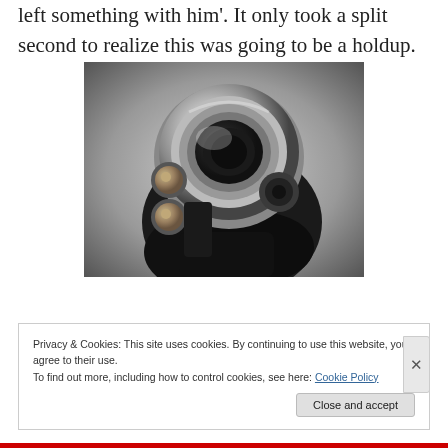left something with him'. It only took a split second to realize this was going to be a holdup.
[Figure (photo): Close-up photo of the barrel of a revolver pointed directly at the viewer, black and white/grayscale, showing the cylinder and barrel muzzle from the front]
Privacy & Cookies: This site uses cookies. By continuing to use this website, you agree to their use.
To find out more, including how to control cookies, see here: Cookie Policy
Close and accept